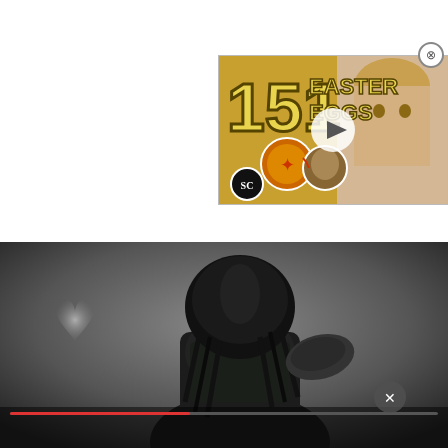[Figure (screenshot): Advertisement thumbnail in upper right showing '151 Easter Eggs' with yellow text on golden background, circular images of characters, SC badge logo, play button, and blonde woman's face on right side. Close (X) button in top right corner.]
[Figure (screenshot): Video player showing a dark, moody scene of the Predator alien creature in black armor with dreadlocks, against a gray misty background. A heart-shaped bokeh light effect visible on the left. Video controls partially visible at the bottom.]